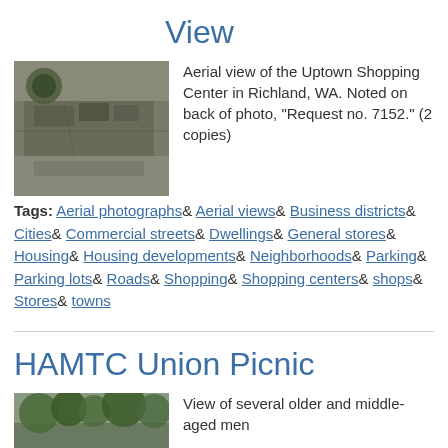View
[Figure (photo): Black and white aerial photograph of the Uptown Shopping Center in Richland, WA.]
Aerial view of the Uptown Shopping Center in Richland, WA. Noted on back of photo, "Request no. 7152." (2 copies)
Tags: Aerial photographs& Aerial views& Business districts& Cities& Commercial streets& Dwellings& General stores& Housing& Housing developments& Neighborhoods& Parking& Parking lots& Roads& Shopping& Shopping centers& shops& Stores& towns
HAMTC Union Picnic
[Figure (photo): Photograph showing trees and older and middle-aged men at the HAMTC Union Picnic.]
View of several older and middle-aged men